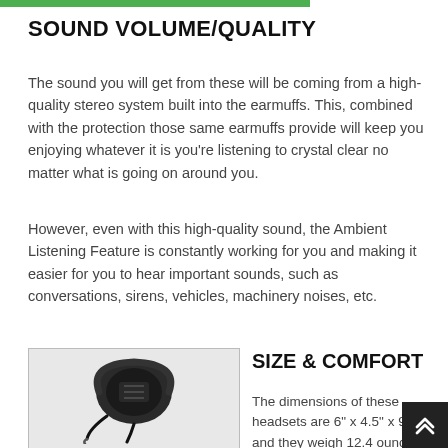SOUND VOLUME/QUALITY
The sound you will get from these will be coming from a high-quality stereo system built into the earmuffs. This, combined with the protection those same earmuffs provide will keep you enjoying whatever it is you're listening to crystal clear no matter what is going on around you.
However, even with this high-quality sound, the Ambient Listening Feature is constantly working for you and making it easier for you to hear important sounds, such as conversations, sirens, vehicles, machinery noises, etc.
[Figure (photo): Photo of a black tactical hearing protection headset/earmuff device shown from the back/side angle with cables attached]
SIZE & COMFORT
The dimensions of these headsets are 6" x 4.5" x 9.6" and they weigh 12.4 ounc